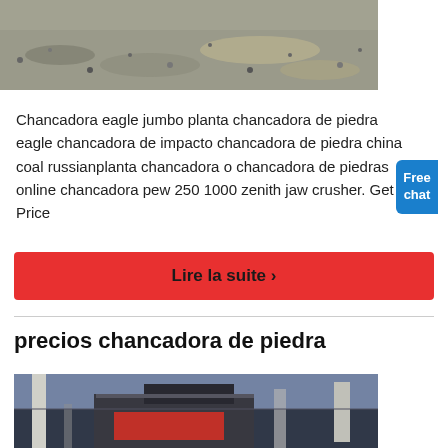[Figure (photo): Gravel or crushed stone aggregate on ground, partial view from top of page]
Chancadora eagle jumbo planta chancadora de piedra eagle chancadora de impacto chancadora de piedra china coal russianplanta chancadora o chancadora de piedras online chancadora pew 250 1000 zenith jaw crusher. Get Price
[Figure (infographic): Free chat button widget with woman figure, blue rounded rectangle with 'Free chat' text]
Lire la suite ›
precios chancadora de piedra
[Figure (photo): Industrial stone crusher machine in factory setting]